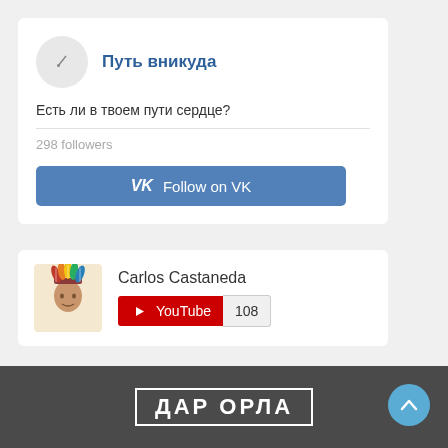Путь вникуда
Есть ли в твоем пути сердце?
298 followers
VK  Follow on VK
Carlos Castaneda
YouTube 108
Поиск...
ДАР ОРЛА